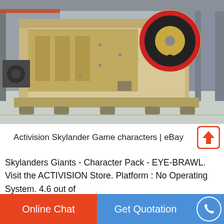[Figure (photo): Industrial jaw crusher machine in beige/cream color with red flywheel, photographed in a factory/warehouse setting]
Activision Skylander Game characters | eBay
Skylanders Giants - Character Pack - EYE-BRAWL. Visit the ACTIVISION Store. Platform : No Operating System. 4.6 out of 5 stars 301 ratings. Only 4 left in stock - order soon. All
Online Chat    Get Quotation